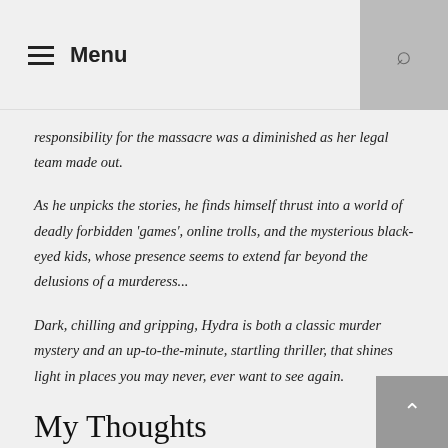≡ Menu
responsibility for the massacre was a diminished as her legal team made out.
As he unpicks the stories, he finds himself thrust into a world of deadly forbidden 'games', online trolls, and the mysterious black-eyed kids, whose presence seems to extend far beyond the delusions of a murderess...
Dark, chilling and gripping, Hydra is both a classic murder mystery and an up-to-the-minute, startling thriller, that shines light in places you may never, ever want to see again.
My Thoughts
Again as this series is podcast based I opted to read it as an Audiobook. It works amazingly as an audiobook as the full cast